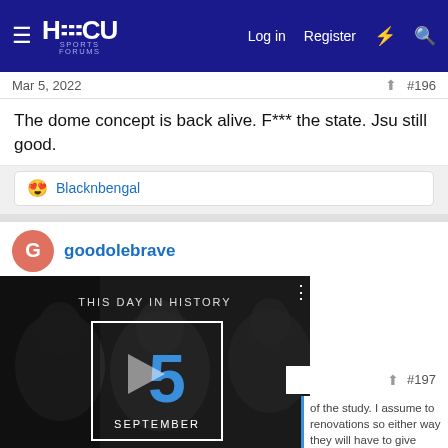HBCU Sports Forums — Log in  Register
Mar 5, 2022
#196
The dome concept is back alive. F*** the state. Jsu still good.
Blacknbengal
goodolebrave
[Figure (screenshot): Video thumbnail: THIS DAY IN HISTORY, showing number 5 and the word SEPTEMBER with video playback controls]
#197
of the study. I assume to renovations so either way they will have to give some money.
The same thing a lot of these bs studies are for when everyone knows what's needed...line someone's pockets